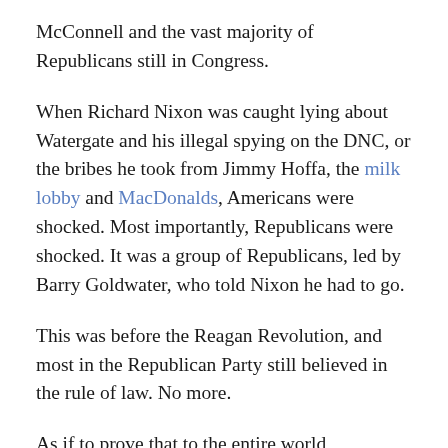McConnell and the vast majority of Republicans still in Congress.
When Richard Nixon was caught lying about Watergate and his illegal spying on the DNC, or the bribes he took from Jimmy Hoffa, the milk lobby and MacDonalds, Americans were shocked. Most importantly, Republicans were shocked. It was a group of Republicans, led by Barry Goldwater, who told Nixon he had to go.
This was before the Reagan Revolution, and most in the Republican Party still believed in the rule of law. No more.
As if to prove that to the entire world, Republicans in the House of Representatives yesterday officially